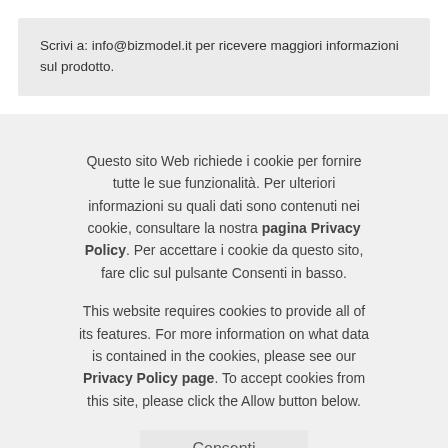Scrivi a: info@bizmodel.it per ricevere maggiori informazioni sul prodotto.
Questo sito Web richiede i cookie per fornire tutte le sue funzionalità. Per ulteriori informazioni su quali dati sono contenuti nei cookie, consultare la nostra pagina Privacy Policy. Per accettare i cookie da questo sito, fare clic sul pulsante Consenti in basso.
This website requires cookies to provide all of its features. For more information on what data is contained in the cookies, please see our Privacy Policy page. To accept cookies from this site, please click the Allow button below.
Consenti